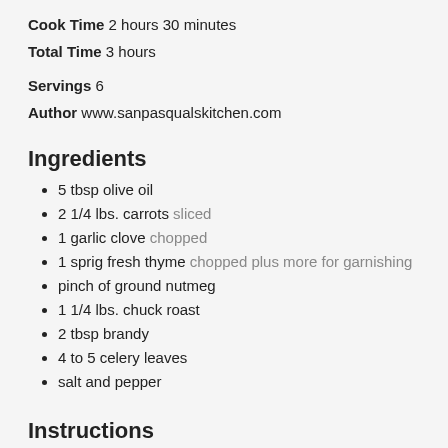Cook Time  2 hours 30 minutes
Total Time  3 hours
Servings  6
Author  www.sanpasqualskitchen.com
Ingredients
5 tbsp olive oil
2 1/4 lbs. carrots sliced
1 garlic clove chopped
1 sprig fresh thyme chopped plus more for garnishing
pinch of ground nutmeg
1 1/4 lbs. chuck roast
2 tbsp brandy
4 to 5 celery leaves
salt and pepper
Instructions
Preheat oven to 250°. Heat 3 tbsp of oil over medium heat. Add the carrots, garlic, and thyme, and cook until lightly browned. Season with the salt and pinch of nutmeg, transfer to a dish and keep warm.
Add the beef to the pan and cook until browned on all